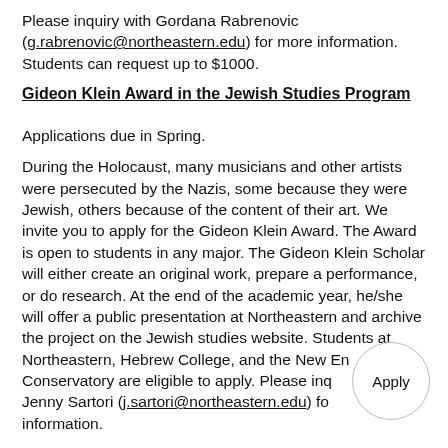Please inquiry with Gordana Rabrenovic (g.rabrenovic@northeastern.edu) for more information. Students can request up to $1000.
Gideon Klein Award in the Jewish Studies Program
Applications due in Spring.
During the Holocaust, many musicians and other artists were persecuted by the Nazis, some because they were Jewish, others because of the content of their art. We invite you to apply for the Gideon Klein Award. The Award is open to students in any major. The Gideon Klein Scholar will either create an original work, prepare a performance, or do research. At the end of the academic year, he/she will offer a public presentation at Northeastern and archive the project on the Jewish studies website. Students at Northeastern, Hebrew College, and the New England Conservatory are eligible to apply. Please inquire with Jenny Sartori (j.sartori@northeastern.edu) for more information.